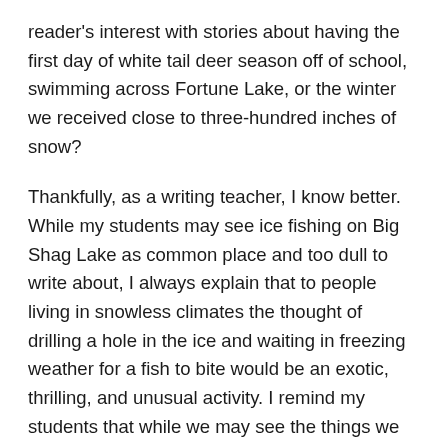reader's interest with stories about having the first day of white tail deer season off of school, swimming across Fortune Lake, or the winter we received close to three-hundred inches of snow?
Thankfully, as a writing teacher, I know better. While my students may see ice fishing on Big Shag Lake as common place and too dull to write about, I always explain that to people living in snowless climates the thought of drilling a hole in the ice and waiting in freezing weather for a fish to bite would be an exotic, thrilling, and unusual activity. I remind my students that while we may see the things we grew up doing and the places we were raised as boring or bland (because we are so close to them) it is what we know best and it is our job as writers to bring out the richness of these experiences. It is for these reasons that Place Conscious Writing has a strong command in my